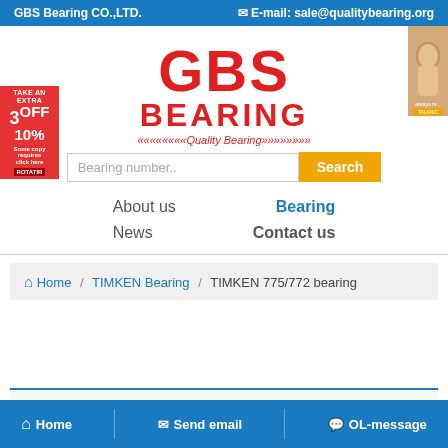GBS Bearing CO.,LTD.    ✉ E-mail: sale@qualitybearing.org
[Figure (logo): GBS Bearing logo with red block letters GBS on top and BEARING below, with Quality Bearing tagline in red italics]
Bearing number..   Search
[Figure (other): Left side advertisement: TAKE AN EXTRA 3OFF 10% promotional banner in red]
[Figure (photo): Right side advertisement showing a woman's face]
About us
Bearing
News
Contact us
Home / TIMKEN Bearing / TIMKEN 775/772 bearing
Home   Send email   OL-message